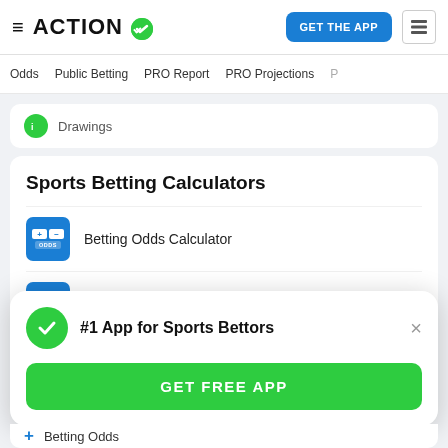ACTION (logo with checkmark) | GET THE APP
Odds | Public Betting | PRO Report | PRO Projections
Drawings
Sports Betting Calculators
Betting Odds Calculator
Odds Value Calculator
Betting Odds Converter
#1 App for Sports Bettors
GET FREE APP
Betting Odds